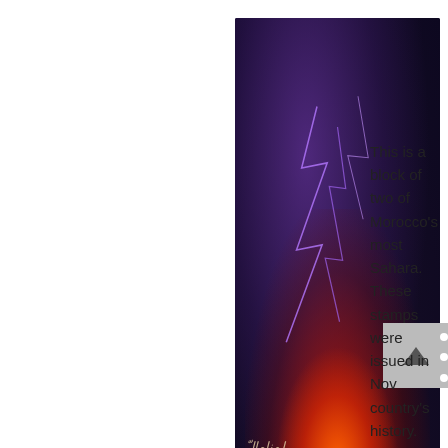[Figure (photo): An Icelandic postage stamp showing a volcanic eruption with dramatic red lava glow, purple lightning and clouds against a dark background. The stamp has perforated edges and the label reads 'ÍSLAND' at the bottom in white text on a dark navy bar. The stamp is partially cropped on the right side of the page.]
This is a block of two of Morocco's most Sahara. These stamps were issued in Nov country's history.